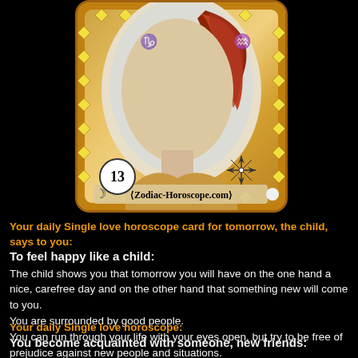[Figure (illustration): Zodiac tarot-style card numbered 13 showing a figure with red/auburn hair, ornate golden diamond-patterned border, a compass star in bottom-right corner, crescent moon symbol bottom-left, and watermark 'Zodiac-Horoscope.com' at bottom]
Your daily Single love horoscope card for tomorrow, the child, says to you:
To feel happy like a child:
The child shows you that tomorrow you will have on the one hand a nice, carefree day and on the other hand that something new will come to you.
You are surrounded by good people.
You can run through your life with your eyes open, but try to be free of prejudice against new people and situations.
Your daily Single love horoscope:
You become acquainted with someone, new friends: